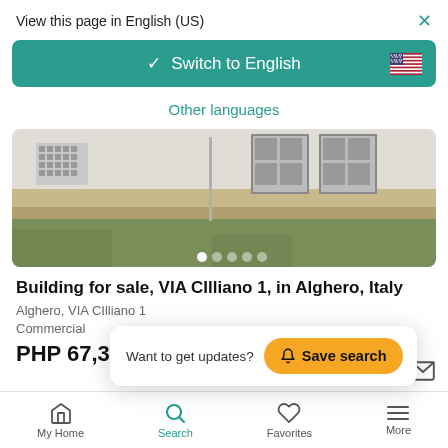View this page in English (US)
Switch to English
Other languages
[Figure (photo): Exterior photo of a commercial building in Alghero, Italy — white facade with ventilation grille, double doors, stone stripe, and grassy foreground]
Building for sale, VIA CIlliano 1, in Alghero, Italy
Alghero, VIA CIlliano 1
Commercial
PHP 67,388,401
Want to get updates? Save search
My Home  Search  Favorites  More